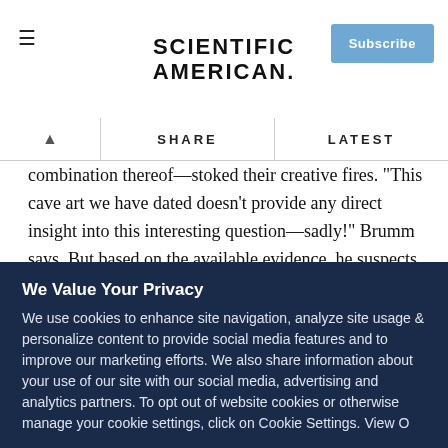SCIENTIFIC AMERICAN
combination thereof—stoked their creative fires. "This cave art we have dated doesn't provide any direct insight into this interesting question—sadly!" Brumm says. But based on the available evidence, he suspects that fictional storytelling arose long before the this painting—"perhaps even before our species spread out of Africa."
Regarding who painted the figures in Leang Bulu' Sipong 4:
We Value Your Privacy
We use cookies to enhance site navigation, analyze site usage & personalize content to provide social media features and to improve our marketing efforts. We also share information about your use of our site with our social media, advertising and analytics partners. To opt out of website cookies or otherwise manage your cookie settings, click on Cookie Settings. View O